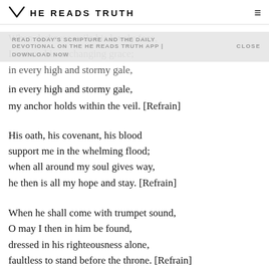HE READS TRUTH
When darkness veils his lovely face,
I rest on his unchanging grace;
in every high and stormy gale,
my anchor holds within the veil. [Refrain]
READ TODAY'S SCRIPTURE AND THE DAILY DEVOTIONAL ON THE HE READS TRUTH APP | CLOSE
DOWNLOAD NOW
His oath, his covenant, his blood
support me in the whelming flood;
when all around my soul gives way,
he then is all my hope and stay. [Refrain]
When he shall come with trumpet sound,
O may I then in him be found,
dressed in his righteousness alone,
faultless to stand before the throne. [Refrain]